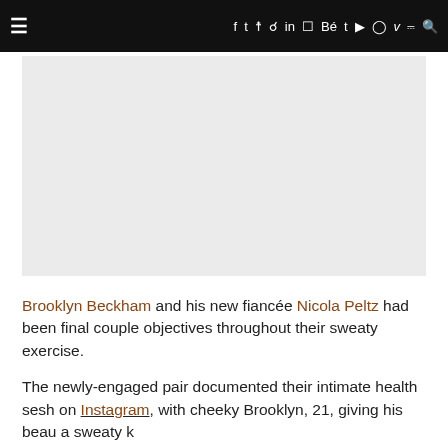≡  f  t  Instagram  Pinterest  in  Flickr  Bē  t  YouTube  Snapchat  V  RSS  Search
[Figure (photo): A large light grey rectangular image placeholder area occupying most of the upper portion of the page below the navigation bar.]
Brooklyn Beckham and his new fiancée Nicola Peltz had been final couple objectives throughout their sweaty exercise.
The newly-engaged pair documented their intimate health sesh on Instagram, with cheeky Brooklyn, 21, giving his beau a sweaty k